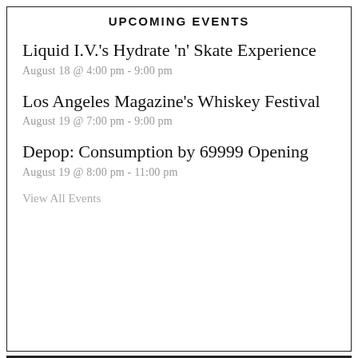UPCOMING EVENTS
Liquid I.V.'s Hydrate 'n' Skate Experience
August 18 @ 4:00 pm - 9:00 pm
Los Angeles Magazine's Whiskey Festival
August 19 @ 7:00 pm - 9:00 pm
Depop: Consumption by 69999 Opening
August 19 @ 8:00 pm - 11:00 pm
View All Events